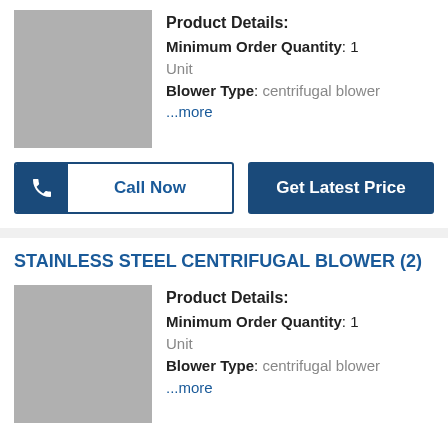Product Details:
Minimum Order Quantity: 1 Unit
Blower Type: centrifugal blower
...more
Call Now
Get Latest Price
STAINLESS STEEL CENTRIFUGAL BLOWER (2)
Product Details:
Minimum Order Quantity: 1 Unit
Blower Type: centrifugal blower
...more